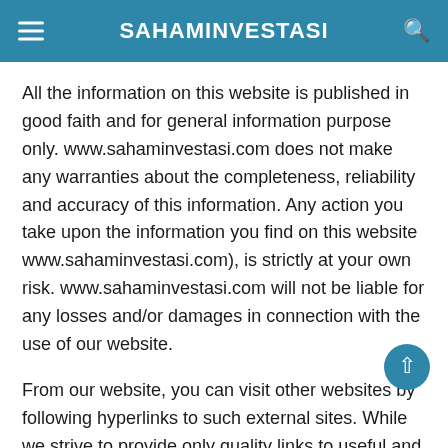SAHAMINVESTASI
All the information on this website is published in good faith and for general information purpose only. www.sahaminvestasi.com does not make any warranties about the completeness, reliability and accuracy of this information. Any action you take upon the information you find on this website www.sahaminvestasi.com), is strictly at your own risk. www.sahaminvestasi.com will not be liable for any losses and/or damages in connection with the use of our website.
From our website, you can visit other websites by following hyperlinks to such external sites. While we strive to provide only quality links to useful and ethical websites, we have control over the content and nature of these sites. These links to other websites do not imply a recommendation for all the